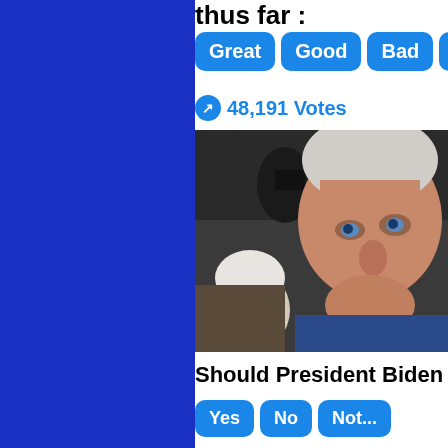thus far :
Great
Good
Bad
Terri...
48,191 Votes
[Figure (photo): Close-up photo of an older man with white hair at a public event; a camera flash is visible in the background; another older person with white hair is visible in the lower left.]
Should President Biden
Yes
No
Not...